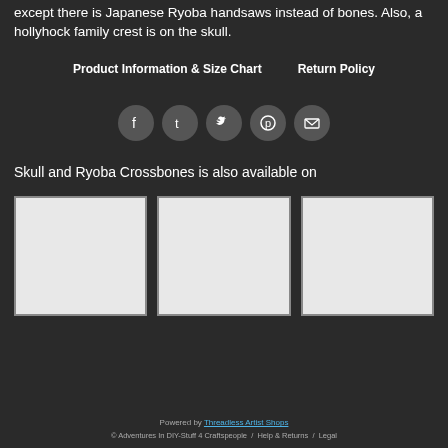except there is Japanese Ryoba handsaws instead of bones. Also, a hollyhock family crest is on the skull.
Product Information & Size Chart   Return Policy
[Figure (other): Social media icons: Facebook, Tumblr, Twitter, Pinterest, Email — circular dark grey buttons with white icons]
Skull and Ryoba Crossbones is also available on
[Figure (other): Three product thumbnail placeholder images in light grey with dark border, shown side by side]
Powered by Threadless Artist Shops
© Adventures In DIY-Stuff 4 Craftspeople  /  Help & Returns  /  Legal